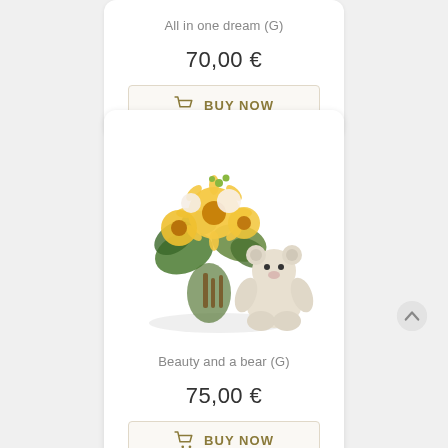All in one dream (G)
70,00 €
BUY NOW
[Figure (photo): Flower bouquet with yellow gerberas and white roses accompanied by a small white teddy bear]
Beauty and a bear (G)
75,00 €
BUY NOW